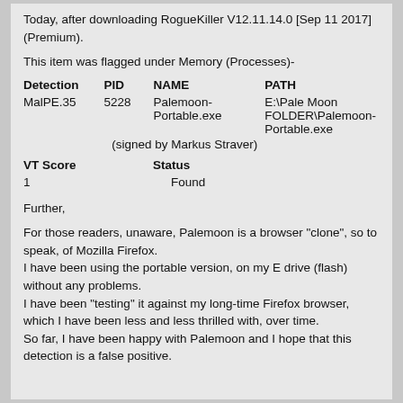Today, after downloading RogueKiller V12.11.14.0 [Sep 11 2017] (Premium).
This item was flagged under Memory (Processes)-
| Detection | PID | NAME | PATH |
| --- | --- | --- | --- |
| MalPE.35 | 5228 | Palemoon-Portable.exe | E:\Pale Moon FOLDER\Palemoon-Portable.exe |
|  |  |  | (signed by Markus Straver) |
| VT Score | Status |
| --- | --- |
| 1 | Found |
Further,
For those readers, unaware, Palemoon is a browser "clone", so to speak, of Mozilla Firefox.
I have been using the portable version, on my E drive (flash) without any problems.
I have been "testing" it against my long-time Firefox browser, which I have been less and less thrilled with, over time.
So far, I have been happy with Palemoon and I hope that this detection is a false positive.